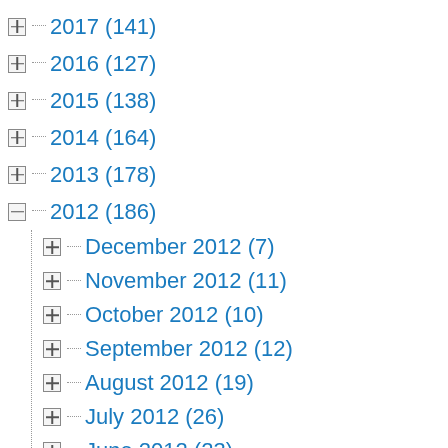2017 (141)
2016 (127)
2015 (138)
2014 (164)
2013 (178)
2012 (186)
December 2012 (7)
November 2012 (11)
October 2012 (10)
September 2012 (12)
August 2012 (19)
July 2012 (26)
June 2012 (23)
May 2012 (12)
April 2012 (11)
March 2012 (7)